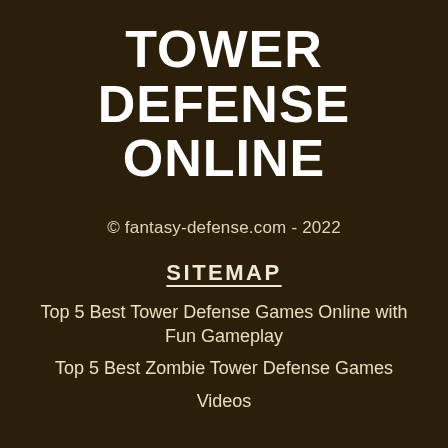TOWER DEFENSE ONLINE
© fantasy-defense.com - 2022
SITEMAP
Top 5 Best Tower Defense Games Online with Fun Gameplay
Top 5 Best Zombie Tower Defense Games
Videos
CONTACT
info@fantasy-defense.com